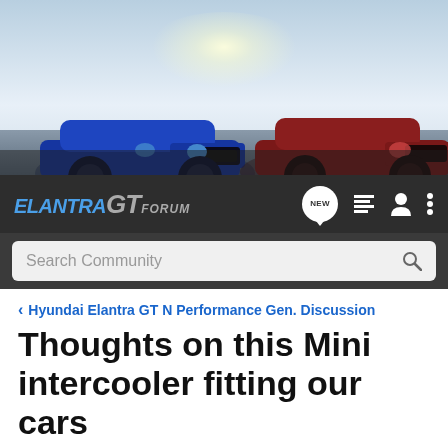[Figure (photo): Banner image showing two Hyundai Elantra GT cars on a road — a blue one on the left and a dark red one on the right, with bright sunlight in the background]
ELANTRA GT FORUM
Search Community
< Hyundai Elantra GT N Performance Gen. Discussion
Thoughts on this Mini intercooler fitting our cars
→ Jump to Latest
+ Follow
1 - 5 of 5 Posts